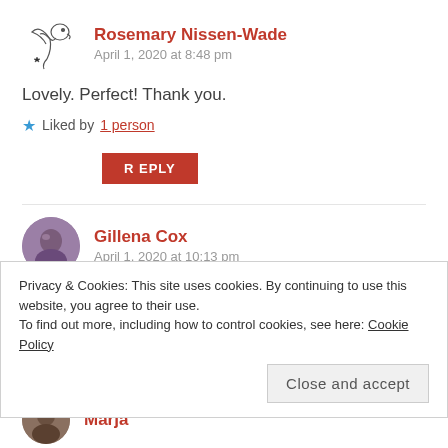[Figure (illustration): Dragon avatar icon for Rosemary Nissen-Wade]
Rosemary Nissen-Wade
April 1, 2020 at 8:48 pm
Lovely. Perfect! Thank you.
★ Liked by 1 person
REPLY
[Figure (photo): Profile photo of Gillena Cox]
Gillena Cox
April 1, 2020 at 10:13 pm
Luv the balance that your haiku brings. Nice haibun
Privacy & Cookies: This site uses cookies. By continuing to use this website, you agree to their use.
To find out more, including how to control cookies, see here: Cookie Policy
Close and accept
[Figure (photo): Profile photo thumbnail of Marja]
Marja